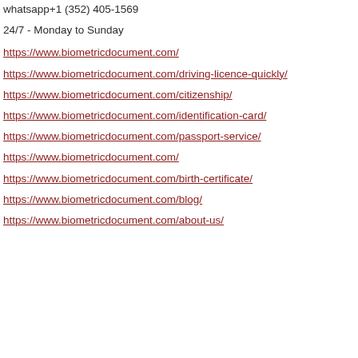whatsapp+1 (352) 405-1569
24/7 - Monday to Sunday
https://www.biometricdocument.com/
https://www.biometricdocument.com/driving-licence-quickly/
https://www.biometricdocument.com/citizenship/
https://www.biometricdocument.com/identification-card/
https://www.biometricdocument.com/passport-service/
https://www.biometricdocument.com/
https://www.biometricdocument.com/birth-certificate/
https://www.biometricdocument.com/blog/
https://www.biometricdocument.com/about-us/